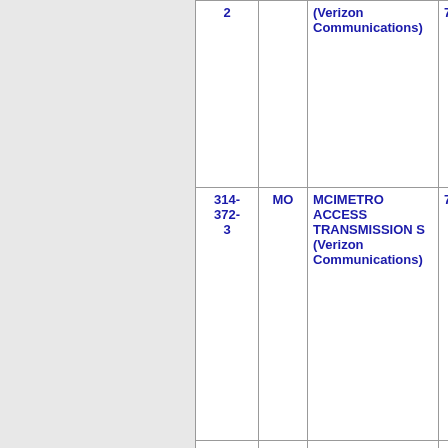| Number | State | Name | Extra |
| --- | --- | --- | --- |
| 2 | MO | MCIMETRO ACCESS TRANSMISSION S (Verizon Communications) | 74- |
| 314-372-3 | MO | MCIMETRO ACCESS TRANSMISSION S (Verizon Communications) | 74- |
| 314-372-4 | MO | MCIMETRO ACCESS TRANSMISSION S (Verizon Communications) | 74- |